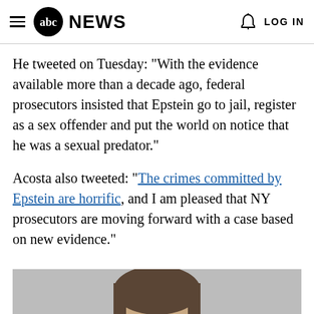abc NEWS  LOG IN
He tweeted on Tuesday: "With the evidence available more than a decade ago, federal prosecutors insisted that Epstein go to jail, register as a sex offender and put the world on notice that he was a sexual predator."
Acosta also tweeted: "The crimes committed by Epstein are horrific, and I am pleased that NY prosecutors are moving forward with a case based on new evidence."
[Figure (photo): A man with short brown hair photographed from roughly the shoulders up, against a gray background. The image is cropped showing the face and top of head prominently.]